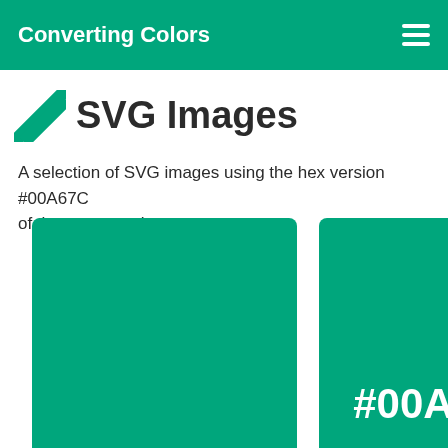Converting Colors
SVG Images
A selection of SVG images using the hex version #00A67C of the current color.
[Figure (other): Solid green rectangle filled with color #00A67C]
[Figure (other): Solid green rectangle filled with color #00A67C with text '#00A6' displayed in white in bottom-right area]